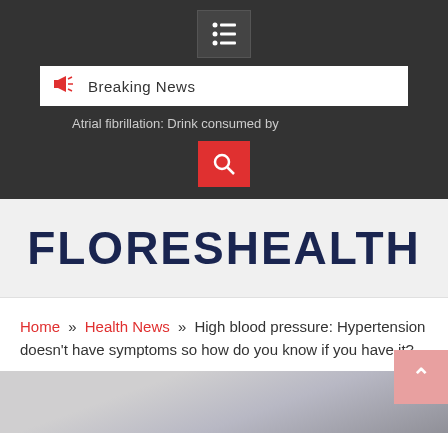[Figure (screenshot): Dark navigation header with grid/list menu icon (white on dark background)]
Breaking News
Atrial fibrillation: Drink consumed by
[Figure (screenshot): Red search button with magnifying glass icon]
FLORESHEALTH
Home » Health News » High blood pressure: Hypertension doesn't have symptoms so how do you know if you have it?
[Figure (photo): Partial photo of a person at the bottom of the page]